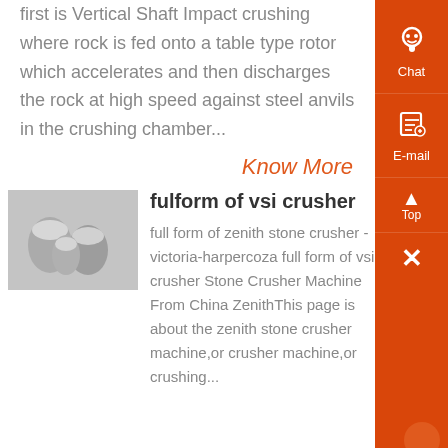first is Vertical Shaft Impact crushing where rock is fed onto a table type rotor which accelerates and then discharges the rock at high speed against steel anvils in the crushing chamber...
Know More
fulform of vsi crusher
[Figure (photo): Black and white photograph of stone crusher machinery components]
full form of zenith stone crusher - victoria-harpercoza full form of vsi crusher Stone Crusher Machine From China ZenithThis page is about the zenith stone crusher machine,or crusher machine,or crushing...